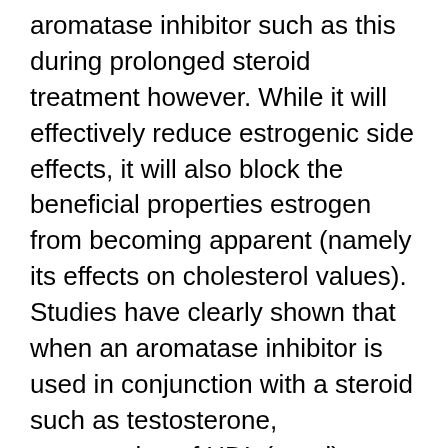aromatase inhibitor such as this during prolonged steroid treatment however. While it will effectively reduce estrogenic side effects, it will also block the beneficial properties estrogen from becoming apparent (namely its effects on cholesterol values). Studies have clearly shown that when an aromatase inhibitor is used in conjunction with a steroid such as testosterone, suppression of HDL (good) cholesterol becomes much more pronounced. Apparently estrogen plays a role in minimizing the negative impact of steroid use. Since the estrogen receptor antagonist Nolvadex is shown not to display an anti-